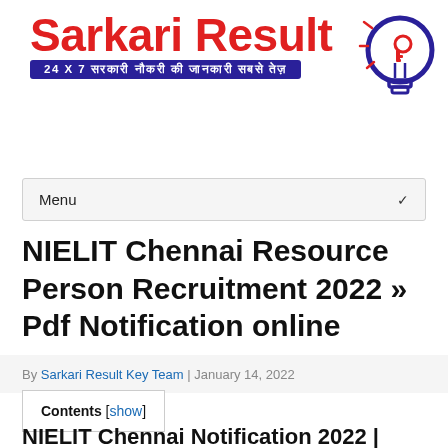[Figure (logo): Sarkari Result logo with red text, Hindi tagline in blue banner, and lightbulb icon]
Menu
NIELIT Chennai Resource Person Recruitment 2022 » Pdf Notification online
By Sarkari Result Key Team | January 14, 2022
Contents [show]
NIELIT Chennai Notification 2022 | Total